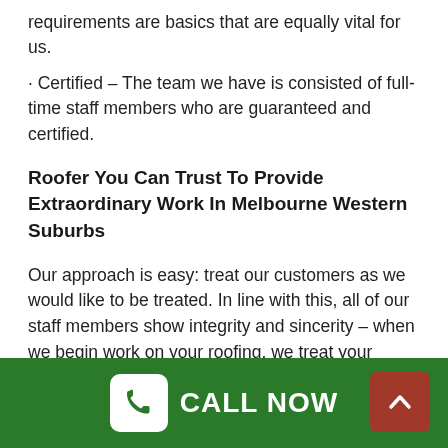requirements are basics that are equally vital for us.
· Certified – The team we have is consisted of full-time staff members who are guaranteed and certified.
Roofer You Can Trust To Provide Extraordinary Work In Melbourne Western Suburbs
Our approach is easy: treat our customers as we would like to be treated. In line with this, all of our staff members show integrity and sincerity – when we begin work on your roofing, we treat your home as though it were our own. We treat your house with the respect that it deserves, thus our dedication to providing premium service at a fair and reasonable cost.
As the most relied on service for roofing system repair, roof
CALL NOW